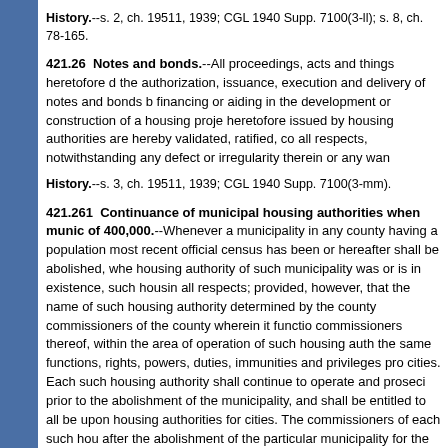History.--s. 2, ch. 19511, 1939; CGL 1940 Supp. 7100(3-ll); s. 8, ch. 78-165.
421.26  Notes and bonds.--All proceedings, acts and things heretofore done in the authorization, issuance, execution and delivery of notes and bonds by, for financing or aiding in the development or construction of a housing project, heretofore issued by housing authorities are hereby validated, ratified, confirmed in all respects, notwithstanding any defect or irregularity therein or any wan...
History.--s. 3, ch. 19511, 1939; CGL 1940 Supp. 7100(3-mm).
421.261  Continuance of municipal housing authorities when munic... of 400,000.--Whenever a municipality in any county having a population most recent official census has been or hereafter shall be abolished, whe housing authority of such municipality was or is in existence, such housi all respects; provided, however, that the name of such housing authority determined by the county commissioners of the county wherein it functio commissioners thereof, within the area of operation of such housing auth the same functions, rights, powers, duties, immunities and privileges pro cities. Each such housing authority shall continue to operate and proseci prior to the abolishment of the municipality, and shall be entitled to all be upon housing authorities for cities. The commissioners of each such hou after the abolishment of the particular municipality for the remainder of th shall be appointed by resolution of the commissioners of the county. As u